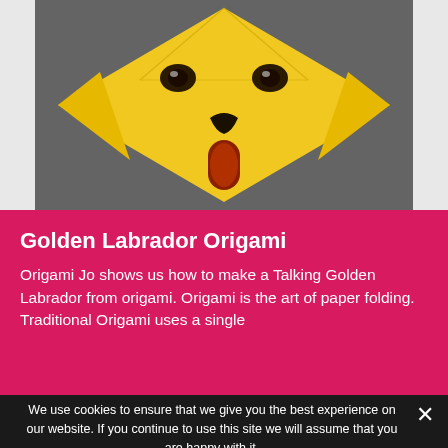[Figure (photo): Origami Golden Labrador dog face made from yellow paper, with drawn-on black eyes and nose, and a red/brown oval tongue. Photo taken against a gray background.]
Golden Labrador Origami
Origami Jo shows us how to make a Talking Golden Labrador from origami. Origami is the art of paper folding. Traditional Origami uses a single
We use cookies to ensure that we give you the best experience on our website. If you continue to use this site we will assume that you are happy with it.
Ok  Privacy policy